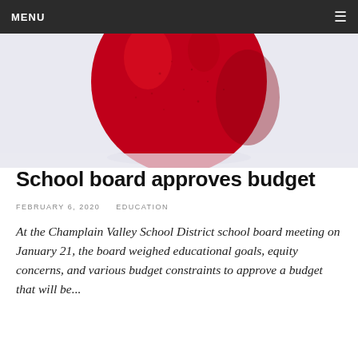MENU
[Figure (photo): Close-up photograph of a red apple on a light background, showing the bottom half of the apple]
School board approves budget
FEBRUARY 6, 2020   EDUCATION
At the Champlain Valley School District school board meeting on January 21, the board weighed educational goals, equity concerns, and various budget constraints to approve a budget that will be...